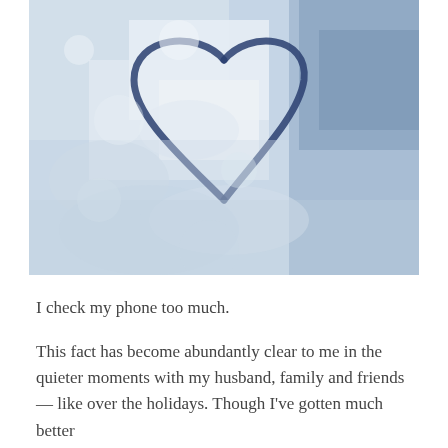[Figure (photo): Close-up photograph of a heart shape drawn in snow, showing blue-tinted icy snow texture with a heart outline traced through it]
I check my phone too much.
This fact has become abundantly clear to me in the quieter moments with my husband, family and friends — like over the holidays. Though I've gotten much better